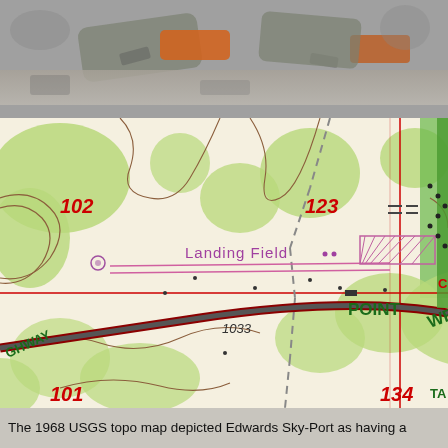[Figure (photo): Top strip showing blurry aerial/ground-level photo of vehicles or aircraft, gray-brown tones]
[Figure (map): 1968 USGS topographic map excerpt showing Edwards Sky-Port Landing Field area. Features contour lines, green vegetation areas, red grid lines, dark red highway curve, dashed trail/road, pink landing strip lines, labeled elevations 102, 123, 1033, 101, 134, text labels: Landing Field, POINT, WEST, GHWAY, TA]
The 1968 USGS topo map depicted Edwards Sky-Port as having a